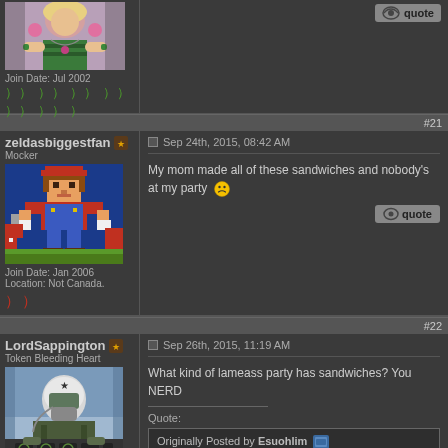[Figure (screenshot): Partial top forum post showing user avatar (young woman with colorful accessories), join date Jul 2002, green rep icons, and a quote button in the content area]
Join Date: Jul 2002
[Figure (screenshot): Post #21 by zeldasbiggestfan (Mocker), pixel art avatar, Join Date: Jan 2006, Location: Not Canada., 2 red rep icons. Post dated Sep 24th, 2015, 08:42 AM: My mom made all of these sandwiches and nobody's at my party [frown emoji]. Has a quote button.]
#21
zeldasbiggestfan
Mocker
Join Date: Jan 2006
Location: Not Canada.
Sep 24th, 2015, 08:42 AM
My mom made all of these sandwiches and nobody's at my party
[Figure (screenshot): Post #22 by LordSappington (Token Bleeding Heart), photo of pilot in cockpit, Join Date: Apr 2008, Location: Intermission in the THIRD DIMENSION. Post dated Sep 26th, 2015, 11:19 AM: What kind of lameass party has sandwiches? You NERD. Includes quote block: Originally Posted by Esuohlim - You are what they call a deficient human being]
#22
LordSappington
Token Bleeding Heart
Join Date: Apr 2008
Location: Intermission in the THIRD DIMENSION
Sep 26th, 2015, 11:19 AM
What kind of lameass party has sandwiches? You NERD
Quote:
Originally Posted by Esuohlim
You are what they call a deficient human being